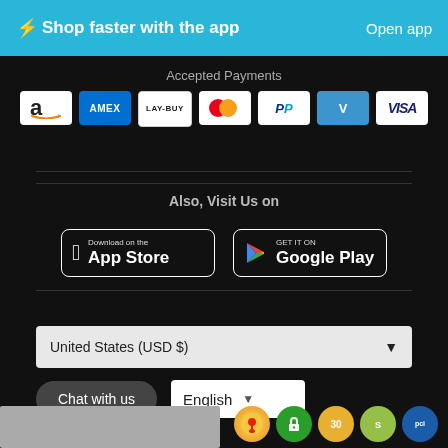⚡Shop faster with the app   Open app
Accepted Payments
[Figure (other): Row of payment method logos: Amazon Pay, American Express, Laybuy, Mastercard, PayPal, Venmo, Visa]
Also, Visit Us on
[Figure (other): Apple App Store download button and Google Play store button]
United States (USD $)
Chat with us
English
[Figure (other): Trust and security badge icons: map pin, lock, 30-day, Shopify, PCI]